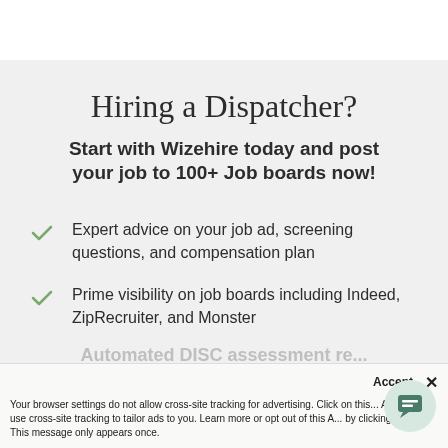Hiring a Dispatcher?
Start with Wizehire today and post your job to 100+ Job boards now!
Expert advice on your job ad, screening questions, and compensation plan
Prime visibility on job boards including Indeed, ZipRecruiter, and Monster
Automated DISC assessment re...
Accept  ✕
Your browser settings do not allow cross-site tracking for advertising. Click on this... AdRoll to use cross-site tracking to tailor ads to you. Learn more or opt out of this A... by clicking here. This message only appears once.